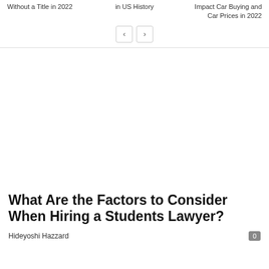Without a Title in 2022 | in US History | Impact Car Buying and Car Prices in 2022
< >
What Are the Factors to Consider When Hiring a Students Lawyer?
Hideyoshi Hazzard